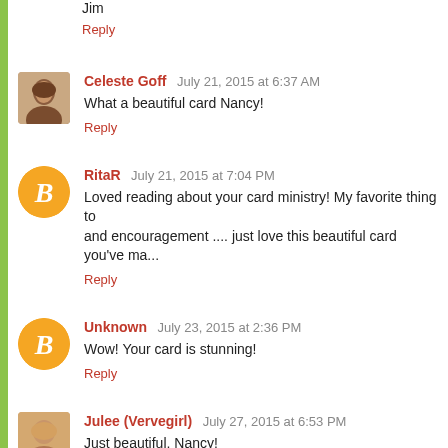Jim
Reply
Celeste Goff  July 21, 2015 at 6:37 AM
What a beautiful card Nancy!
Reply
RitaR  July 21, 2015 at 7:04 PM
Loved reading about your card ministry! My favorite thing to ... and encouragement .... just love this beautiful card you've ma...
Reply
Unknown  July 23, 2015 at 2:36 PM
Wow! Your card is stunning!
Reply
Julee (Vervegirl)  July 27, 2015 at 6:53 PM
Just beautiful, Nancy!
Reply